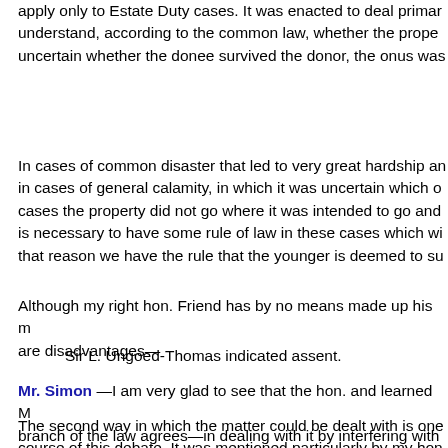apply only to Estate Duty cases. It was enacted to deal primar understand, according to the common law, whether the prope uncertain whether the donee survived the donor, the onus was
In cases of common disaster that led to very great hardship an in cases of general calamity, in which it was uncertain which o cases the property did not go where it was intended to go and is necessary to have some rule of law in these cases which wi that reason we have the rule that the younger is deemed to su
Although my right hon. Friend has by no means made up his m are disadvantages—
Sir L. Ungoed-Thomas indicated assent.
Mr. Simon —I am very glad to see that the hon. and learned M branch of the law agrees—in dealing with it by interfering with
The second way in which the matter could be dealt with is one course of this debate. It was mentioned particularly by my hon Cheltenham (Major Hicks Beach) and the hon. and learned Me adaptation of the quick succession relief constituted by Sectio